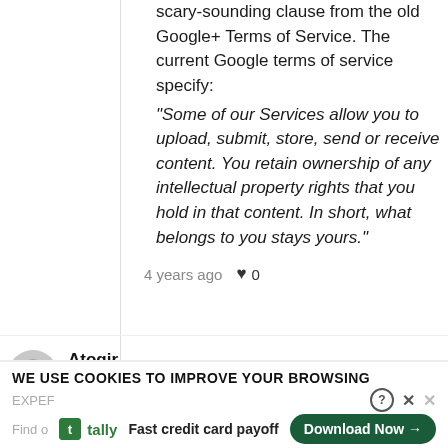scary-sounding clause from the old Google+ Terms of Service. The current Google terms of service specify: "Some of our Services allow you to upload, submit, store, send or receive content. You retain ownership of any intellectual property rights that you hold in that content. In short, what belongs to you stays yours."
4 years ago  ♥ 0
Atoqir
You can also upload 50,000 songs to
WE USE COOKIES TO IMPROVE YOUR BROWSING
Fast credit card payoff
Download Now →